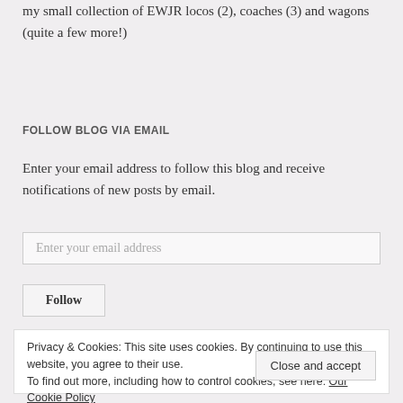my small collection of EWJR locos (2), coaches (3) and wagons (quite a few more!)
FOLLOW BLOG VIA EMAIL
Enter your email address to follow this blog and receive notifications of new posts by email.
Enter your email address
Follow
Privacy & Cookies: This site uses cookies. By continuing to use this website, you agree to their use.
To find out more, including how to control cookies, see here: Our Cookie Policy
Close and accept